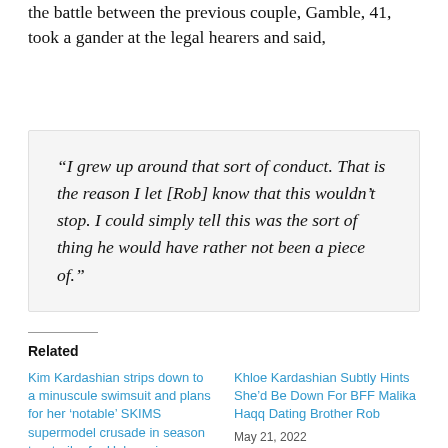the battle between the previous couple, Gamble, 41, took a gander at the legal hearers and said,
“I grew up around that sort of conduct. That is the reason I let [Rob] know that this wouldn’t stop. I could simply tell this was the sort of thing he would have rather not been a piece of.”
Related
Kim Kardashian strips down to a minuscule swimsuit and plans for her ‘notable’ SKIMS supermodel crusade in season two trailer for Hulu series
Khloe Kardashian Subtly Hints She’d Be Down For BFF Malika Haqq Dating Brother Rob
May 21, 2022
In “Entertainment”